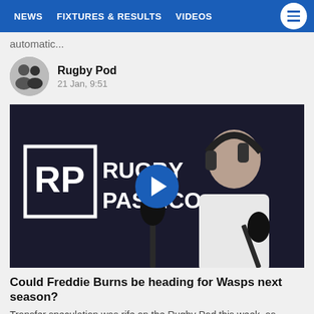NEWS  FIXTURES & RESULTS  VIDEOS
automatic...
Rugby Pod
21 Jan, 9:51
[Figure (screenshot): Video thumbnail showing a man wearing headphones in front of a RugbyPass.com studio backdrop, with a blue play button overlay in the center.]
Could Freddie Burns be heading for Wasps next season?
Transfer speculation was rife on the Rugby Pod this week, as